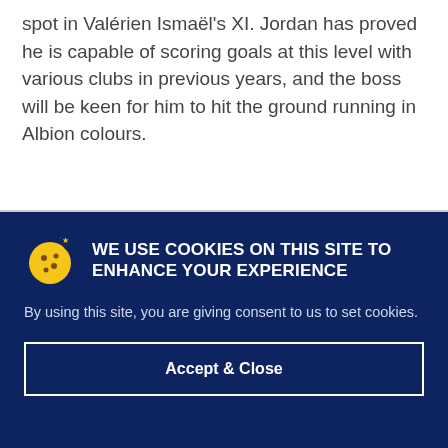spot in Valérien Ismaël's XI. Jordan has proved he is capable of scoring goals at this level with various clubs in previous years, and the boss will be keen for him to hit the ground running in Albion colours.
WE USE COOKIES ON THIS SITE TO ENHANCE YOUR EXPERIENCE
By using this site, you are giving consent to us to set cookies.
Accept & Close